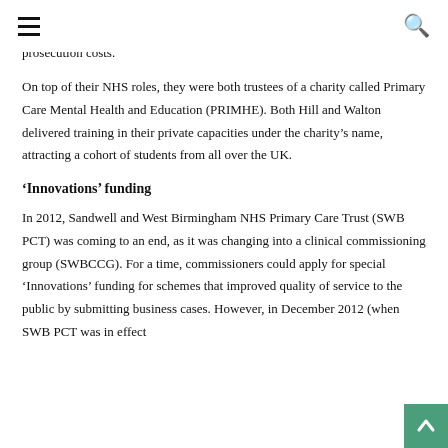[hamburger menu] [search icon]
prosecution costs.
On top of their NHS roles, they were both trustees of a charity called Primary Care Mental Health and Education (PRIMHE). Both Hill and Walton delivered training in their private capacities under the charity's name, attracting a cohort of students from all over the UK.
‘Innovations’ funding
In 2012, Sandwell and West Birmingham NHS Primary Care Trust (SWB PCT) was coming to an end, as it was changing into a clinical commissioning group (SWBCCG). For a time, commissioners could apply for special ‘Innovations’ funding for schemes that improved quality of service to the public by submitting business cases. However, in December 2012 (when SWB PCT was in effect